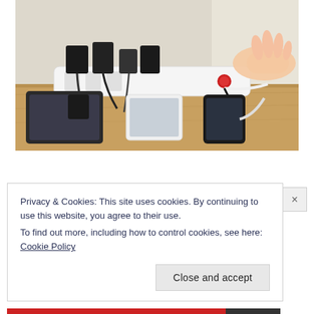[Figure (photo): A hand pressing a red button on a white power strip loaded with multiple black chargers and USB adapters, with cables running to several devices including tablets and smartphones laid on a wooden table surface.]
Privacy & Cookies: This site uses cookies. By continuing to use this website, you agree to their use.
To find out more, including how to control cookies, see here: Cookie Policy
Close and accept